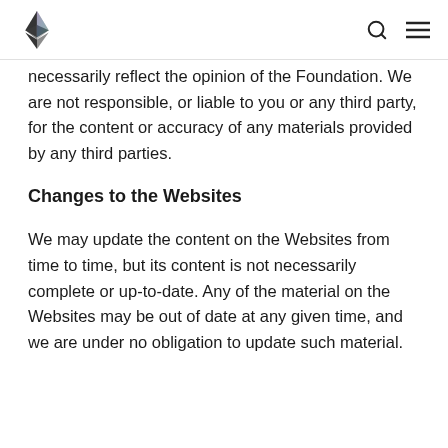[Ethereum logo] [Search icon] [Menu icon]
necessarily reflect the opinion of the Foundation. We are not responsible, or liable to you or any third party, for the content or accuracy of any materials provided by any third parties.
Changes to the Websites
We may update the content on the Websites from time to time, but its content is not necessarily complete or up-to-date. Any of the material on the Websites may be out of date at any given time, and we are under no obligation to update such material.